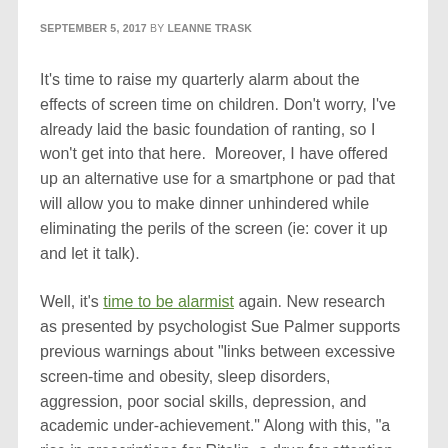SEPTEMBER 5, 2017 BY LEANNE TRASK
It's time to raise my quarterly alarm about the effects of screen time on children. Don't worry, I've already laid the basic foundation of ranting, so I won't get into that here.  Moreover, I have offered up an alternative use for a smartphone or pad that will allow you to make dinner unhindered while eliminating the perils of the screen (ie: cover it up and let it talk).
Well, it's time to be alarmist again. New research as presented by psychologist Sue Palmer supports previous warnings about "links between excessive screen-time and obesity, sleep disorders, aggression, poor social skills, depression, and academic under-achievement." Along with this, "a rise in prescriptions for Ritalin, a drug for attention deficit and hyperactivity – a four-fold increase in less than a decade."